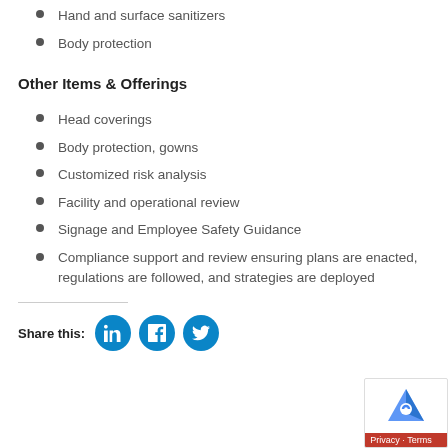Hand and surface sanitizers
Body protection
Other Items & Offerings
Head coverings
Body protection, gowns
Customized risk analysis
Facility and operational review
Signage and Employee Safety Guidance
Compliance support and review ensuring plans are enacted, regulations are followed, and strategies are deployed
Share this: